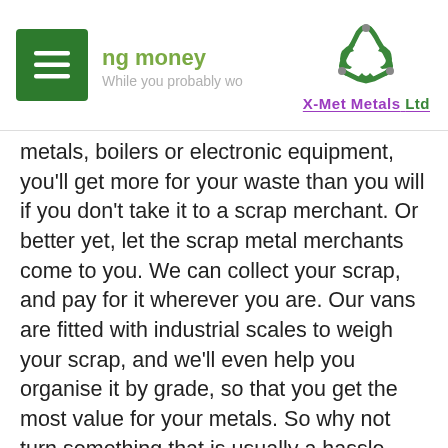saving money — X-Met Metals Ltd
metals, boilers or electronic equipment, you'll get more for your waste than you will if you don't take it to a scrap merchant. Or better yet, let the scrap metal merchants come to you. We can collect your scrap, and pay for it wherever you are. Our vans are fitted with industrial scales to weigh your scrap, and we'll even help you organise it by grade, so that you get the most value for your metals. So why not turn something that is usually a hassle, and best avoided, and turn it into a great way to make some cash back, for a lot less work?
In addition, because we travel to you, wherever you are, you will also save money too. You wont need to stop work, load a van or truck, and drive to a scrapyard where you will need to wait, before driving all the way back. Instead,